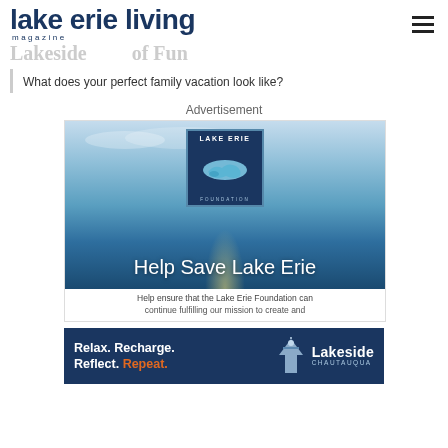lake erie living magazine
Lakeside ... of Fun
What does your perfect family vacation look like?
Advertisement
[Figure (illustration): Lake Erie Foundation advertisement with logo box showing lake shape, dark navy background with water/sunset, text: Help Save Lake Erie. Caption: Help ensure that the Lake Erie Foundation can continue fulfilling our mission to create and]
[Figure (illustration): Lakeside Chautauqua advertisement on dark navy background with church/building icon. Text: Relax. Recharge. Reflect. Repeat. Lakeside Chautauqua]